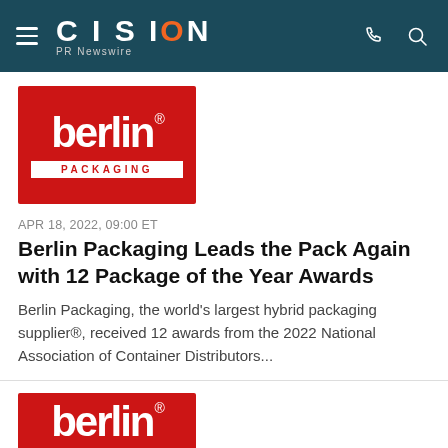CISION PR Newswire
[Figure (logo): Berlin Packaging logo — red square with white 'berlin' wordmark and 'PACKAGING' bar below]
APR 18, 2022, 09:00 ET
Berlin Packaging Leads the Pack Again with 12 Package of the Year Awards
Berlin Packaging, the world's largest hybrid packaging supplier®, received 12 awards from the 2022 National Association of Container Distributors...
[Figure (logo): Berlin Packaging logo — red square with white 'berlin' wordmark (partial, cropped at bottom)]